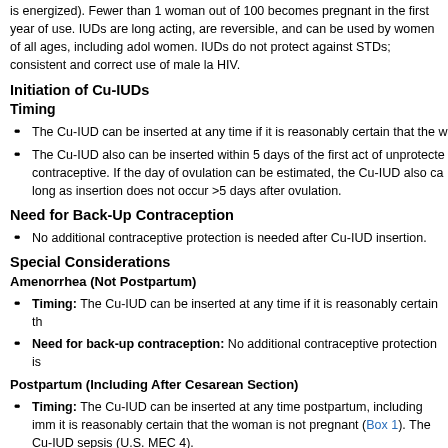is energized). Fewer than 1 woman out of 100 becomes pregnant in the first year of use. IUDs are long acting, are reversible, and can be used by women of all ages, including adolescents and nulliparous women. IUDs do not protect against STDs; consistent and correct use of male latex condoms reduces the risk of HIV.
Initiation of Cu-IUDs
Timing
The Cu-IUD can be inserted at any time if it is reasonably certain that the woman is not pregnant.
The Cu-IUD also can be inserted within 5 days of the first act of unprotected intercourse as an emergency contraceptive. If the day of ovulation can be estimated, the Cu-IUD also can be inserted within 5 days of ovulation, as long as insertion does not occur >5 days after ovulation.
Need for Back-Up Contraception
No additional contraceptive protection is needed after Cu-IUD insertion.
Special Considerations
Amenorrhea (Not Postpartum)
Timing: The Cu-IUD can be inserted at any time if it is reasonably certain that the woman is not pregnant.
Need for back-up contraception: No additional contraceptive protection is needed.
Postpartum (Including After Cesarean Section)
Timing: The Cu-IUD can be inserted at any time postpartum, including immediately postpartum, as long as it is reasonably certain that the woman is not pregnant (Box 1). The Cu-IUD should not be inserted in women with sepsis (U.S. MEC 4).
Need for back-up contraception: No additional contraceptive protection is needed.
Postabortion (Spontaneous or Induced)
Timing: The Cu-IUD can be inserted within the first 7 days, including immediately after a first- or second-trimester abortion.